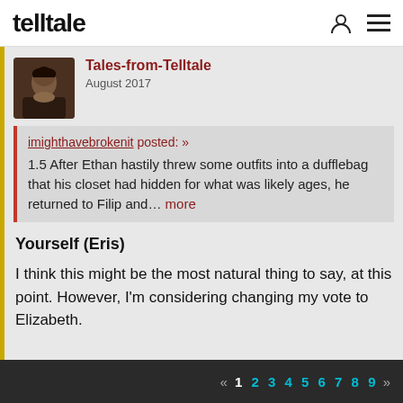telltale
Tales-from-Telltale
August 2017
imighthavebrokenit posted: »
1.5 After Ethan hastily threw some outfits into a dufflebag that his closet had hidden for what was likely ages, he returned to Filip and… more
Yourself (Eris)
I think this might be the most natural thing to say, at this point. However, I'm considering changing my vote to Elizabeth.
« 1 2 3 4 5 6 7 8 9 »